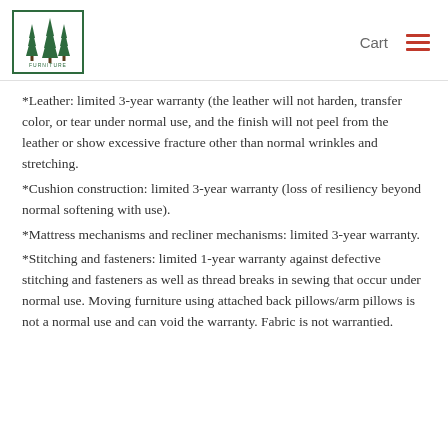Cart
*Leather: limited 3-year warranty (the leather will not harden, transfer color, or tear under normal use, and the finish will not peel from the leather or show excessive fracture other than normal wrinkles and stretching.
*Cushion construction: limited 3-year warranty (loss of resiliency beyond normal softening with use).
*Mattress mechanisms and recliner mechanisms: limited 3-year warranty.
*Stitching and fasteners: limited 1-year warranty against defective stitching and fasteners as well as thread breaks in sewing that occur under normal use. Moving furniture using attached back pillows/arm pillows is not a normal use and can void the warranty. Fabric is not warrantied.